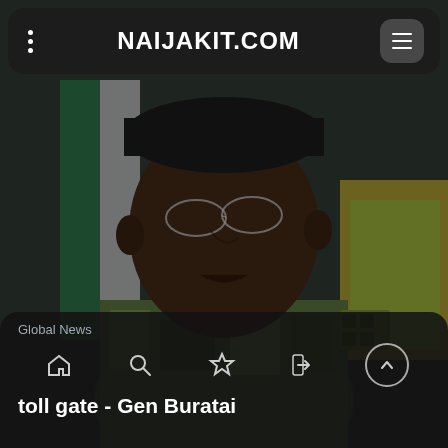NAIJAKIT.COM
[Figure (photo): A Nigerian military officer in camouflage uniform with rank insignia, wearing glasses, speaking at what appears to be a press briefing. Nigerian flag visible in background.]
Global News
toll gate - Gen Buratai